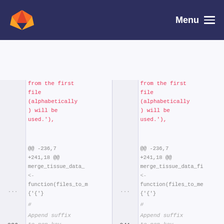GitLab Menu
[Figure (screenshot): GitLab diff view showing two-pane code comparison. Left pane (old) and right pane (new) show code diff with deleted lines in red and context lines in grey. Code includes function merge_tissue_data_ with comments about appending suffix to non-key fields.]